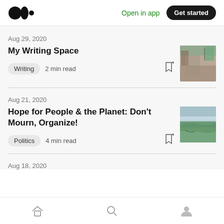Medium logo | Open in app | Get started
Aug 29, 2020
My Writing Space
Writing  2 min read
[Figure (photo): Interior room photo showing a writing space with furniture and window]
Aug 21, 2020
Hope for People & the Planet: Don't Mourn, Organize!
Politics  4 min read
[Figure (photo): Aerial landscape photo showing land, river and clouds]
Aug 18, 2020
Home | Search | Profile